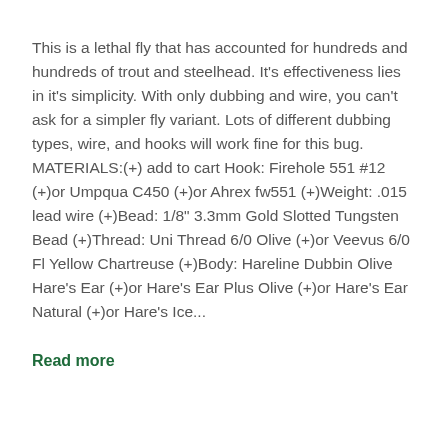This is a lethal fly that has accounted for hundreds and hundreds of trout and steelhead. It's effectiveness lies in it's simplicity. With only dubbing and wire, you can't ask for a simpler fly variant. Lots of different dubbing types, wire, and hooks will work fine for this bug. MATERIALS:(+) add to cart Hook: Firehole 551 #12 (+)or Umpqua C450 (+)or Ahrex fw551 (+)Weight: .015 lead wire (+)Bead: 1/8" 3.3mm Gold Slotted Tungsten Bead (+)Thread: Uni Thread 6/0 Olive (+)or Veevus 6/0 Fl Yellow Chartreuse (+)Body: Hareline Dubbin Olive Hare's Ear (+)or Hare's Ear Plus Olive (+)or Hare's Ear Natural (+)or Hare's Ice...
Read more